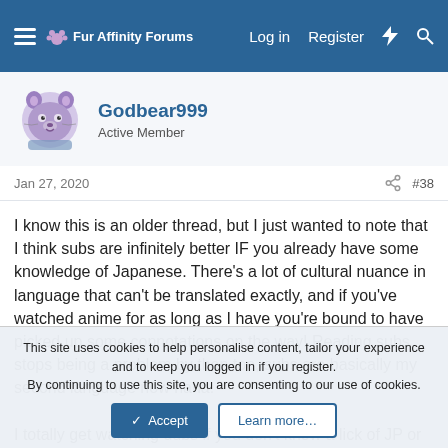Fur Affinity Forums — Log in   Register
Godbear999
Active Member
Jan 27, 2020   #38
I know this is an older thread, but I just wanted to note that I think subs are infinitely better IF you already have some knowledge of Japanese. There's a lot of cultural nuance in language that can't be translated exactly, and if you've watched anime for as long as I have you're bound to have picked up some connotations on the way! Reading subs stops being a problem by then too, subs are basically my second language now haha.

I totally get watching dubs if you don't know a lick of JP or have
This site uses cookies to help personalise content, tailor your experience and to keep you logged in if you register.
By continuing to use this site, you are consenting to our use of cookies.